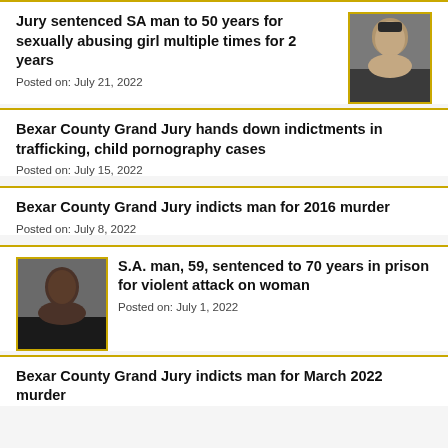Jury sentenced SA man to 50 years for sexually abusing girl multiple times for 2 years
Posted on: July 21, 2022
[Figure (photo): Mugshot of a young man with short dark hair, light skin, wearing dark clothing]
Bexar County Grand Jury hands down indictments in trafficking, child pornography cases
Posted on: July 15, 2022
Bexar County Grand Jury indicts man for 2016 murder
Posted on: July 8, 2022
[Figure (photo): Mugshot of an older Black man wearing a dark shirt]
S.A. man, 59, sentenced to 70 years in prison for violent attack on woman
Posted on: July 1, 2022
Bexar County Grand Jury indicts man for March 2022 murder